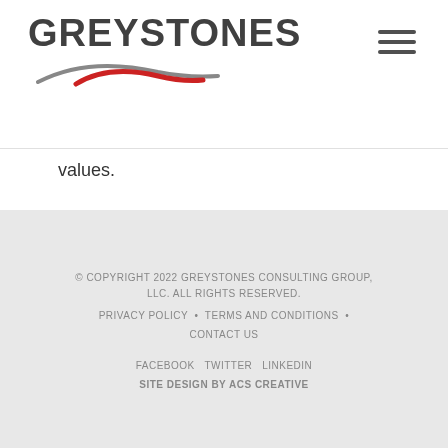[Figure (logo): Greystones Consulting Group logo with swoosh graphic in grey and red]
values.
© COPYRIGHT 2022 GREYSTONES CONSULTING GROUP, LLC. ALL RIGHTS RESERVED.
PRIVACY POLICY • TERMS AND CONDITIONS •
CONTACT US
FACEBOOK TWITTER LINKEDIN
SITE DESIGN BY ACS CREATIVE